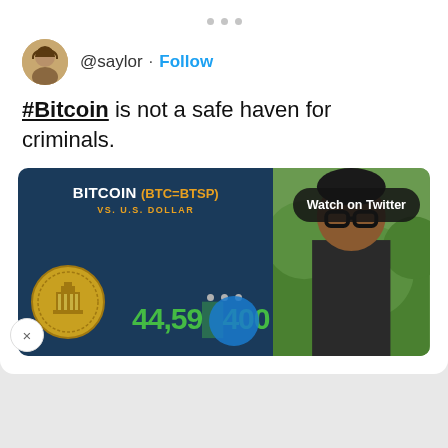[Figure (screenshot): Twitter/X post by @saylor with a Follow button, showing tweet text '#Bitcoin is not a safe haven for criminals.' and an embedded video thumbnail showing 'BITCOIN (BTC=BTSP) VS. U.S. DOLLAR' chart with a 'Watch on Twitter' overlay button, partially obscured numbers '44,59??,400', a gold seal, and a person on the right side. There is an X close button on the left edge.]
#Bitcoin is not a safe haven for criminals.
@saylor · Follow